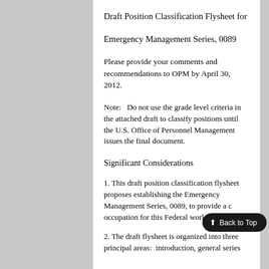Draft Position Classification Flysheet for
Emergency Management Series, 0089
Please provide your comments and recommendations to OPM by April 30, 2012.
Note:   Do not use the grade level criteria in the attached draft to classify positions until the U.S. Office of Personnel Management issues the final document.
Significant Considerations
1. This draft position classification flysheet proposes establishing the Emergency Management Series, 0089, to provide a c[lassification standard for the] occupation for this Federal workforce.
2. The draft flysheet is organized into three principal areas:  introduction, general series